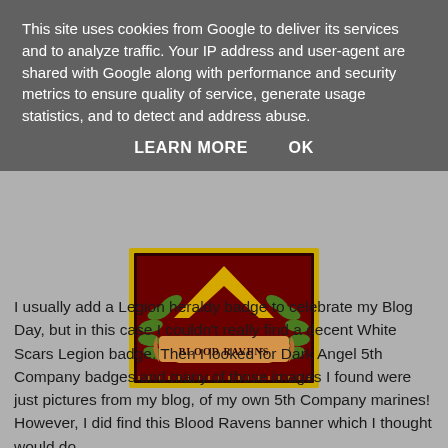This site uses cookies from Google to deliver its services and to analyze traffic. Your IP address and user-agent are shared with Google along with performance and security metrics to ensure quality of service, generate usage statistics, and to detect and address abuse.
LEARN MORE    OK
[Figure (illustration): Blood Ravens banner/badge showing a dark red background with a yellow V-shape, green laurel wreaths on either side, and a scroll banner reading 'BLOOD RAVENS' in old-style lettering, framed with a gold/yellow border.]
I usually add a Legion heraldy badge to celebrate my Blog Day, but in this case I couldn't really find a decent White Scars Legion badge. Then I looked for Dark Angel 5th Company badges and many of those images I found were just pictures from my blog, of my own 5th Company marines! However, I did find this Blood Ravens banner which I thought would do.